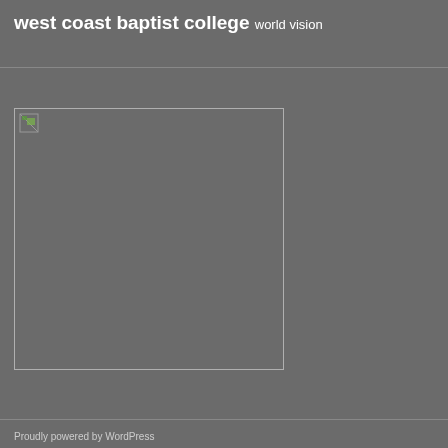west coast baptist college world vision
[Figure (photo): A broken image placeholder box with a small broken image icon in the top-left corner, shown on a grey background]
Proudly powered by WordPress